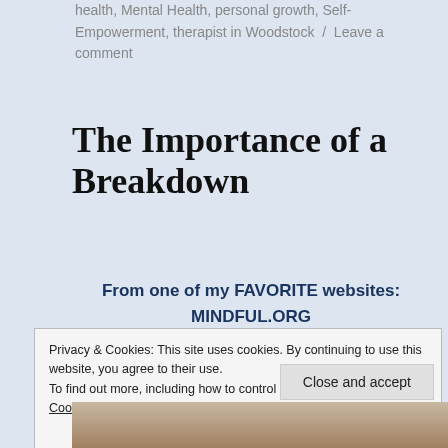health, Mental Health, personal growth, Self-Empowerment, therapist in Woodstock / Leave a comment
The Importance of a Breakdown
From one of my FAVORITE websites: MINDFUL.ORG
Privacy & Cookies: This site uses cookies. By continuing to use this website, you agree to their use.
To find out more, including how to control cookies, see here: Cookie Policy
Close and accept
[Figure (photo): Bottom portion of a photo, partially visible at the bottom of the page]